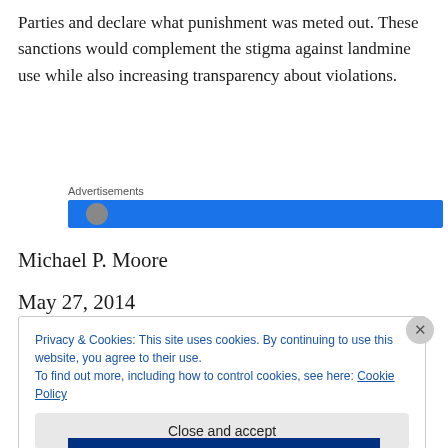Parties and declare what punishment was meted out. These sanctions would complement the stigma against landmine use while also increasing transparency about violations.
Advertisements
Michael P. Moore
May 27, 2014
Privacy & Cookies: This site uses cookies. By continuing to use this website, you agree to their use.
To find out more, including how to control cookies, see here: Cookie Policy
Close and accept